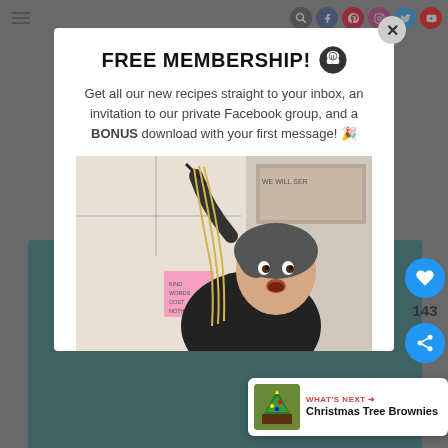Navigation bar with hamburger menu and social media icons
FREE MEMBERSHIP! 🍽
Get all our new recipes straight to your inbox, an invitation to our private Facebook group, and a BONUS download with your first message! 🎉
[Figure (photo): A woman with short hair holding up a long strand of pasta with a fork, looking surprised. A pink sticky note on a shelf reads 'KIND WORDS COST NOTHING'. Background shows a framed sign reading 'WE WILL SER...']
WHAT'S NEXT ➜ Christmas Tree Brownies
143